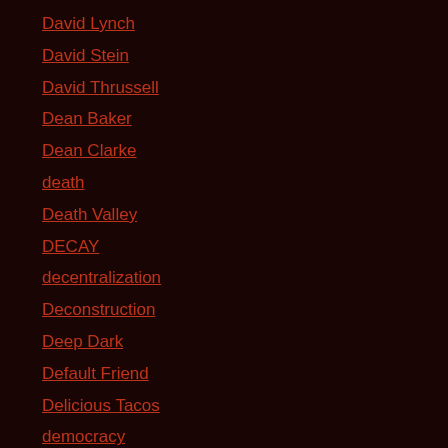David Lynch
David Stein
David Thrussell
Dean Baker
Dean Clarke
death
Death Valley
DECAY
decentralization
Deconstruction
Deep Dark
Default Friend
Delicious Tacos
democracy
demographics